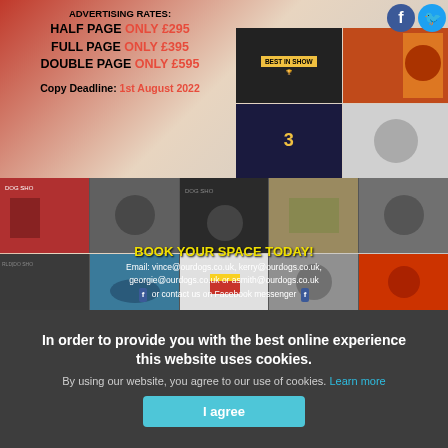[Figure (infographic): Dog show advertisement with photos of dog show events, social media icons, advertising rates and contact details]
ADVERTISING RATES:
HALF PAGE ONLY £295
FULL PAGE ONLY £395
DOUBLE PAGE ONLY £595
Copy Deadline: 1st August 2022
BOOK YOUR SPACE TODAY!
Email: vince@ourdogs.co.uk, kerry@ourdogs.co.uk, georgie@ourdogs.co.uk or asmith@ourdogs.co.uk or contact us on Facebook messenger
In order to provide you with the best online experience this website uses cookies.
By using our website, you agree to our use of cookies. Learn more
Latest Shows